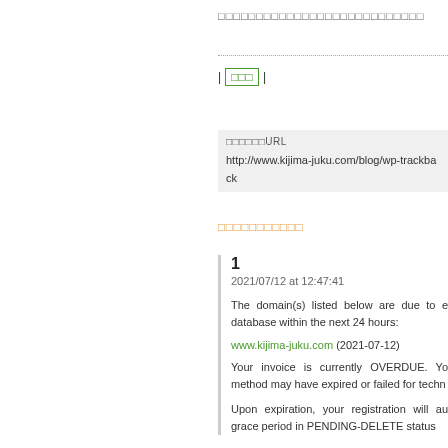□□□□□□□□□□□□□□□□□□□□□□□□□□□
| □□□ |
□□□□□□URL
http://www.kijima-juku.com/blog/wp-trackback
□□□□□□□□□□□
1
2021/07/12 at 12:47:41

The domain(s) listed below are due to database within the next 24 hours:

www.kijima-juku.com (2021-07-12)

Your invoice is currently OVERDUE. Your method may have expired or failed for techni

Upon expiration, your registration will au grace period in PENDING-DELETE status